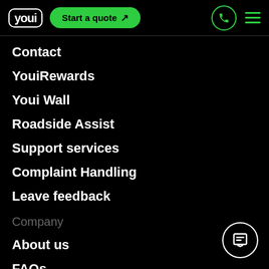[Figure (screenshot): Youi insurance website navigation header with logo, Start a quote button, phone icon, and hamburger menu]
Contact
YouiRewards
Youi Wall
Roadside Assist
Support services
Complaint Handling
Leave feedback
Company
About us
FAQs
Youi news